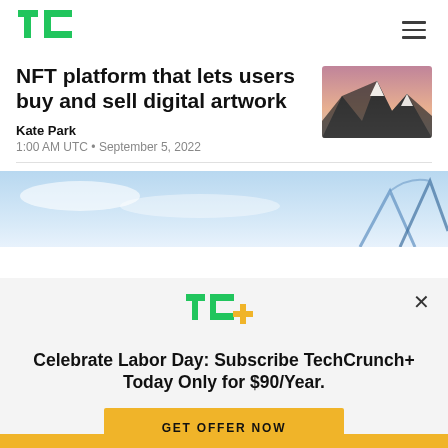TechCrunch
NFT platform that lets users buy and sell digital artwork
Kate Park
1:00 AM UTC • September 5, 2022
[Figure (photo): Mountain landscape photo used as article thumbnail]
[Figure (photo): Article banner image with blue sky background and abstract shapes]
Celebrate Labor Day: Subscribe TechCrunch+ Today Only for $90/Year.
GET OFFER NOW